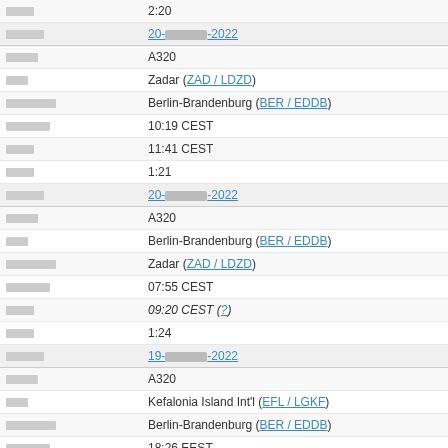| [label] | 2:20 |
| [label] | 20-[redacted]-2022 |
| [label] | A320 |
| [label] | Zadar (ZAD / LDZD) |
| [label] | Berlin-Brandenburg (BER / EDDB) |
| [label] | 10:19 CEST |
| [label] | 11:41 CEST |
| [label] | 1:21 |
| [label] | 20-[redacted]-2022 |
| [label] | A320 |
| [label] | Berlin-Brandenburg (BER / EDDB) |
| [label] | Zadar (ZAD / LDZD) |
| [label] | 07:55 CEST |
| [label] | 09:20 CEST (?) |
| [label] | 1:24 |
| [label] | 19-[redacted]-2022 |
| [label] | A320 |
| [label] | Kefalonia Island Int'l (EFL / LGKF) |
| [label] | Berlin-Brandenburg (BER / EDDB) |
| [label] | 18:26 EEST |